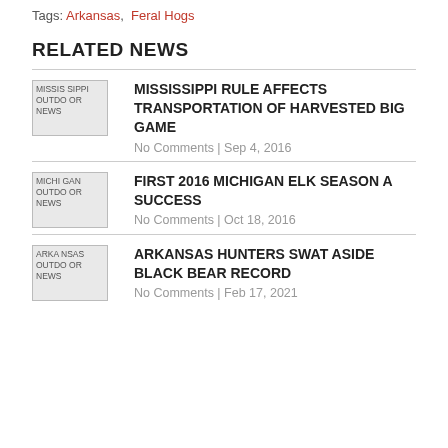Tags: Arkansas, Feral Hogs
RELATED NEWS
MISSISSIPPI RULE AFFECTS TRANSPORTATION OF HARVESTED BIG GAME
No Comments | Sep 4, 2016
FIRST 2016 MICHIGAN ELK SEASON A SUCCESS
No Comments | Oct 18, 2016
ARKANSAS HUNTERS SWAT ASIDE BLACK BEAR RECORD
No Comments | Feb 17, 2021